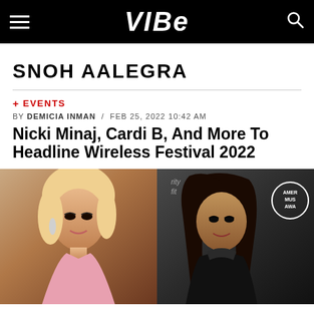VIBE
SNOH AALEGRA
+ EVENTS
BY DEMICIA INMAN / FEB 25, 2022 10:42 AM
Nicki Minaj, Cardi B, And More To Headline Wireless Festival 2022
[Figure (photo): Split photo showing Nicki Minaj (left, with platinum blonde hair, in a pink dress) and Cardi B (right, with long dark hair, in a black strapless outfit) at different events. AMAs logo visible on right side.]